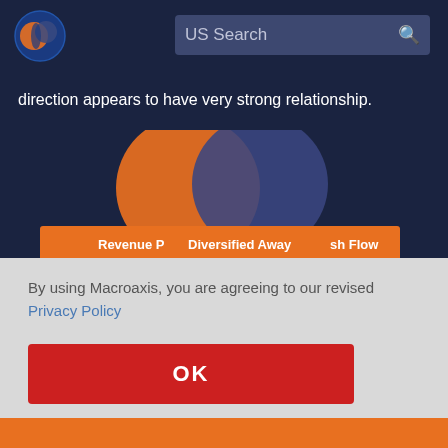[Figure (logo): Macroaxis globe logo with orange and dark blue circular design]
US Search
direction appears to have very strong relationship.
[Figure (infographic): Overlapping circles diagram with orange and dark blue circles representing Revenue P, Diversified Away, and sh Flow labels on an orange bar below]
By using Macroaxis, you are agreeing to our revised Privacy Policy
OK